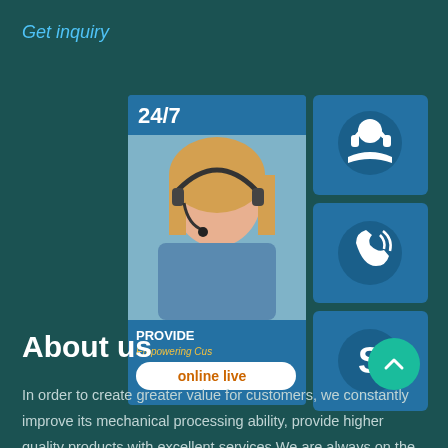Get inquiry
[Figure (infographic): Customer service composite panel showing a woman with headset, 24/7 text, three blue icon cards (headset, phone, Skype S logo), PROVIDE / Empowering Customers text, and an online live button]
About us
In order to create greater value for customers, we constantly improve its mechanical processing ability, provide higher quality products with excellent services.We are always on the road...